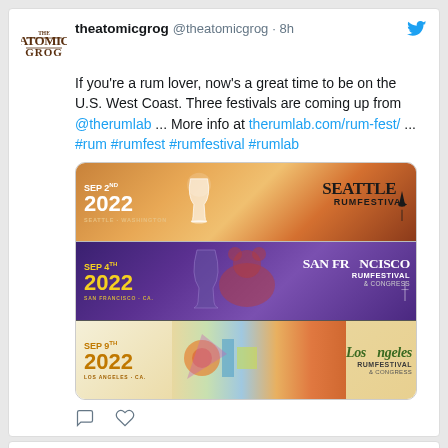theatomicgrog @theatomicgrog · 8h — If you're a rum lover, now's a great time to be on the U.S. West Coast. Three festivals are coming up from @therumlab ... More info at therumlab.com/rum-fest/ ... #rum #rumfest #rumfestival #rumlab
[Figure (infographic): Three rum festival event banners: SEP 2ND 2022 Seattle RumFestival (Washington), SEP 4TH 2022 San Francisco RumFestival & Congress, SEP 9TH 2022 Los Angeles RumFestival & Congress]
theatomic... @theatomi... · Aug 31 — The new 114-proof blend from @BeachBumBerry and @Ed_Hamilton yields one of the best Navy Grogs we've ever had the pleasure of testing. Looking...